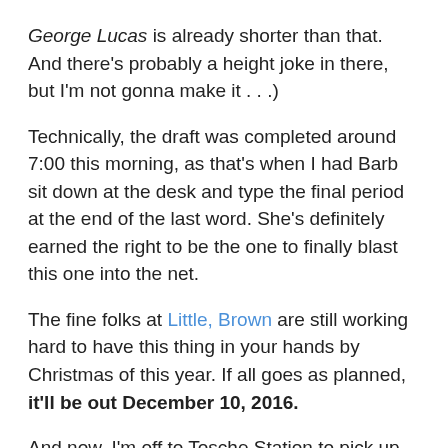George Lucas is already shorter than that. And there's probably a height joke in there, but I'm not gonna make it . . .)
Technically, the draft was completed around 7:00 this morning, as that's when I had Barb sit down at the desk and type the final period at the end of the last word. She's definitely earned the right to be the one to finally blast this one into the net.
The fine folks at Little, Brown are still working hard to have this thing in your hands by Christmas of this year. If all goes as planned, it'll be out December 10, 2016.
And now, I'm off to Tosche Station to pick up some power converters.